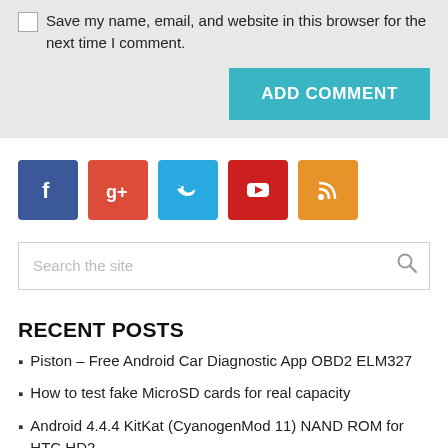Save my name, email, and website in this browser for the next time I comment.
ADD COMMENT
[Figure (infographic): Row of five social media icon buttons: Facebook (blue), Google+ (red), Twitter (cyan), YouTube (red), RSS (orange)]
Search the site
RECENT POSTS
Piston – Free Android Car Diagnostic App OBD2 ELM327
How to test fake MicroSD cards for real capacity
Android 4.4.4 KitKat (CyanogenMod 11) NAND ROM for HTC HD2
Fake Lenovo Smartphones and Replicas Hitting the Market